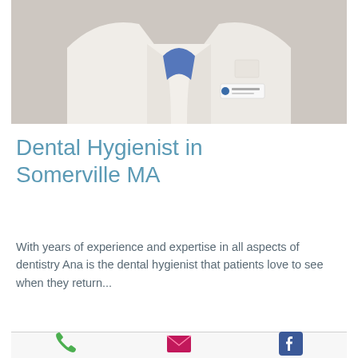[Figure (photo): A dental hygienist wearing a white lab coat with a blue scrub top underneath, shown from shoulders down with a name badge on the coat.]
Dental Hygienist in Somerville MA
With years of experience and expertise in all aspects of dentistry Ana is the dental hygienist that patients love to see when they return...